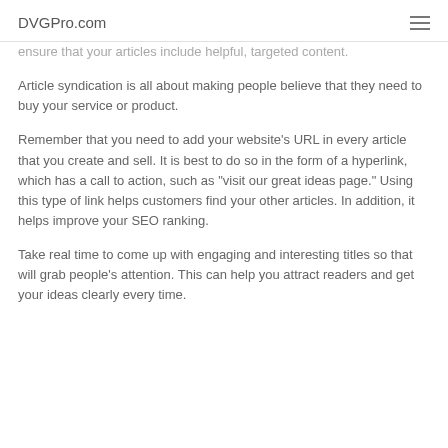DVGPro.com
ensure that your articles include helpful, targeted content.
Article syndication is all about making people believe that they need to buy your service or product.
Remember that you need to add your website's URL in every article that you create and sell. It is best to do so in the form of a hyperlink, which has a call to action, such as "visit our great ideas page." Using this type of link helps customers find your other articles. In addition, it helps improve your SEO ranking.
Take real time to come up with engaging and interesting titles so that will grab people's attention. This can help you attract readers and get your ideas clearly every time.